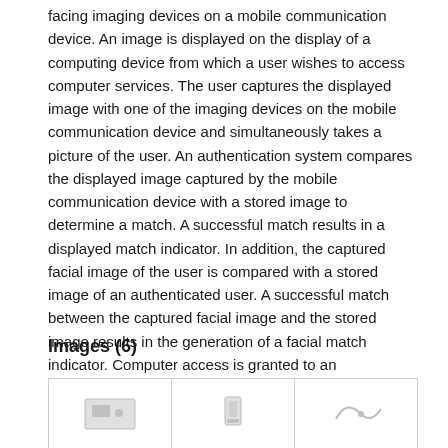facing imaging devices on a mobile communication device. An image is displayed on the display of a computing device from which a user wishes to access computer services. The user captures the displayed image with one of the imaging devices on the mobile communication device and simultaneously takes a picture of the user. An authentication system compares the displayed image captured by the mobile communication device with a stored image to determine a match. A successful match results in a displayed match indicator. In addition, the captured facial image of the user is compared with a stored image of an authenticated user. A successful match between the captured facial image and the stored image results in the generation of a facial match indicator. Computer access is granted to an authenticated user only if both the captured display image and the captured facial image result in a match with the stored counterpart images.
Images (6)
[Figure (other): Three thumbnail images shown side by side in a strip, partially visible at the bottom of the page.]